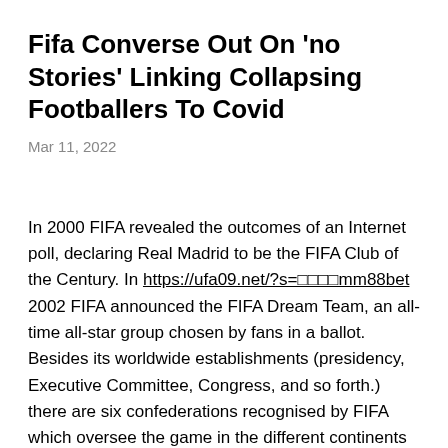Fifa Converse Out On 'no Stories' Linking Collapsing Footballers To Covid
Mar 11, 2022
In 2000 FIFA revealed the outcomes of an Internet poll, declaring Real Madrid to be the FIFA Club of the Century. In https://ufa09.net/?s=mm88bet 2002 FIFA announced the FIFA Dream Team, an all-time all-star group chosen by fans in a ballot. Besides its worldwide establishments (presidency, Executive Committee, Congress, and so forth.) there are six confederations recognised by FIFA which oversee the game in the different continents and regions of the world. National